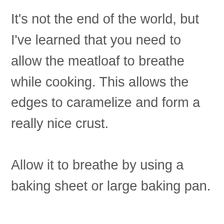It's not the end of the world, but I've learned that you need to allow the meatloaf to breathe while cooking. This allows the edges to caramelize and form a really nice crust.
Allow it to breathe by using a baking sheet or large baking pan.